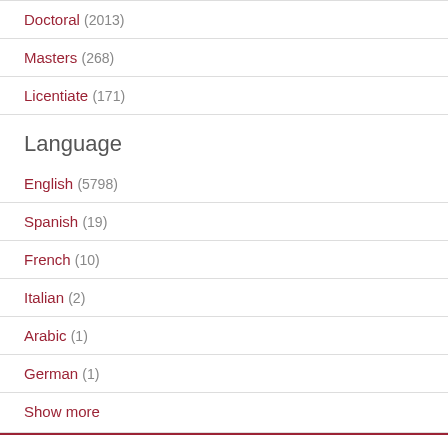Doctoral (2013)
Masters (268)
Licentiate (171)
Language
English (5798)
Spanish (19)
French (10)
Italian (2)
Arabic (1)
German (1)
Show more
[Figure (logo): Boston College Libraries logo with red text 'BOSTON COLLEGE' and black text 'LIBRARIES']
Policies   Contact Us   Login